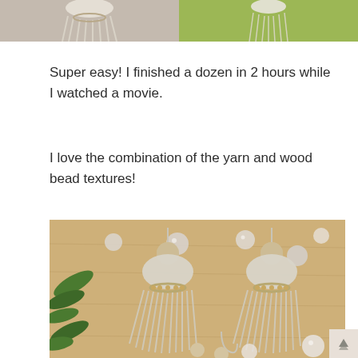[Figure (photo): Two photos side by side showing yarn tassels in progress on a wooden surface background]
Super easy! I finished a dozen in 2 hours while I watched a movie.
I love the combination of the yarn and wood bead textures!
[Figure (photo): Finished yarn tassels with wood beads displayed on a wooden surface with green pine sprigs and silver/pearl ornament balls around them]